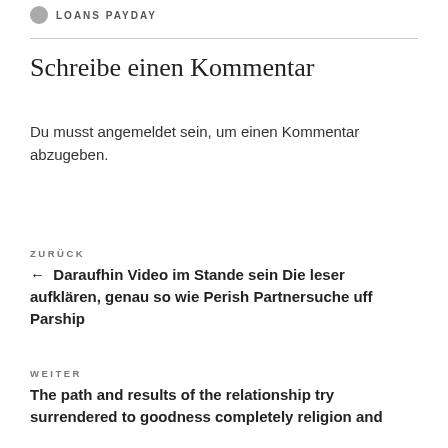LOANS PAYDAY
Schreibe einen Kommentar
Du musst angemeldet sein, um einen Kommentar abzugeben.
ZURÜCK
← Daraufhin Video im Stande sein Die leser aufklären, genau so wie Perish Partnersuche uff Parship
WEITER
The path and results of the relationship try surrendered to goodness completely religion and